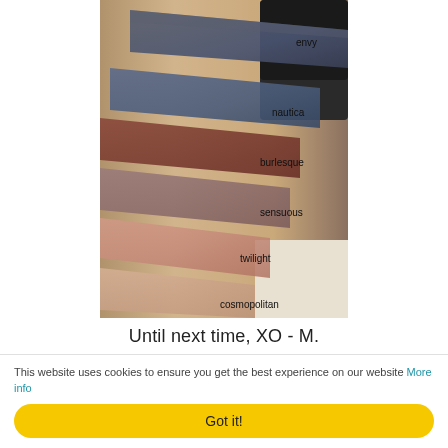[Figure (photo): Close-up photo of a hand/wrist with makeup eyeshadow swatches labeled: envy (dark blue-grey), nautica (dark blue), burlesque (dark reddish-brown), sensuous (mauve/taupe), twilight (peachy-pink), cosmopolitan (light peachy-nude).]
Until next time, XO - M.
This website uses cookies to ensure you get the best experience on our website More info
Got it!